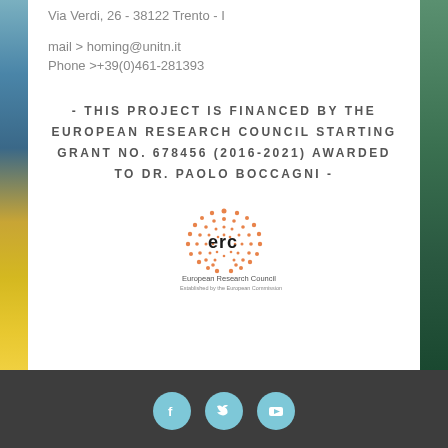Via Verdi, 26 - 38122 Trento - I
mail > homing@unitn.it
Phone >+39(0)461-281393
- THIS PROJECT IS FINANCED BY THE EUROPEAN RESEARCH COUNCIL STARTING GRANT NO. 678456 (2016-2021) AWARDED TO DR. PAOLO BOCCAGNI -
[Figure (logo): European Research Council (ERC) logo with orange dot pattern and text 'erc' and 'European Research Council']
Social media icons: Facebook, Twitter, YouTube